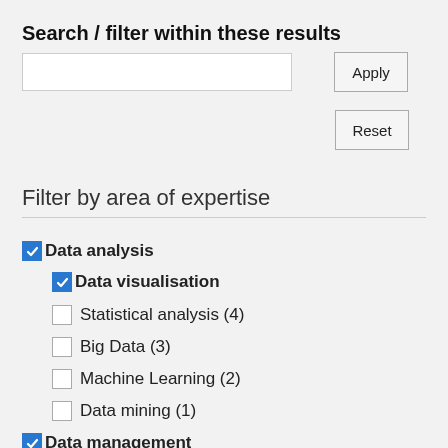Search / filter within these results
[Figure (screenshot): Search input field and Apply button]
[Figure (screenshot): Reset button]
Filter by area of expertise
Data analysis (checked)
Data visualisation (checked, indented)
Statistical analysis (4) (unchecked, indented)
Big Data (3) (unchecked, indented)
Machine Learning (2) (unchecked, indented)
Data mining (1) (unchecked, indented)
Data management (checked, partially visible)